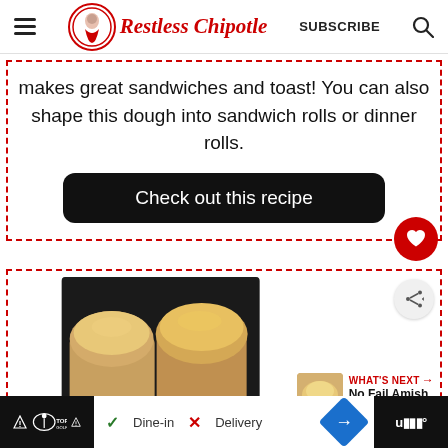Restless Chipotle  SUBSCRIBE
makes great sandwiches and toast! You can also shape this dough into sandwich rolls or dinner rolls.
Check out this recipe
[Figure (photo): Photo of bread loaves in a baking pan, golden brown tops]
WHAT'S NEXT → No Fail Amish White Bread
[Figure (infographic): Bottom ad bar with TopGolf logo, Dine-in checkmark, Delivery X, navigation arrow icon, and weather widget]